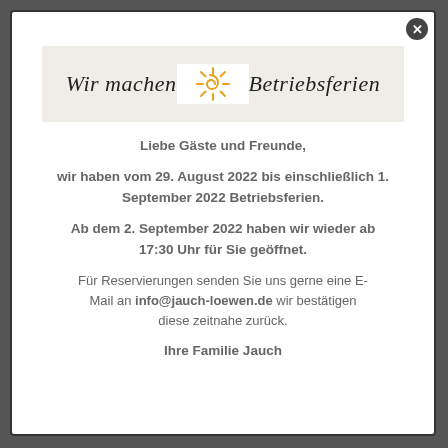[Figure (illustration): Banner with cursive handwritten text 'Wir machen Betriebsferien' with a sun/spiral logo in the center on a beige background]
Liebe Gäste und Freunde,
wir haben vom 29. August 2022 bis einschließlich 1. September 2022 Betriebsferien.
Ab dem 2. September 2022 haben wir wieder ab 17:30 Uhr für Sie geöffnet.
Für Reservierungen senden Sie uns gerne eine E-Mail an info@jauch-loewen.de wir bestätigen diese zeitnahe zurück.
Ihre Familie Jauch